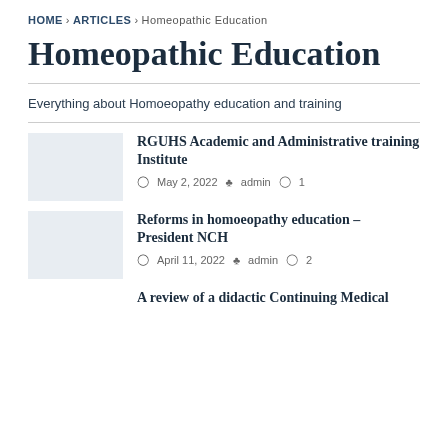HOME > ARTICLES > Homeopathic Education
Homeopathic Education
Everything about Homoeopathy education and training
RGUHS Academic and Administrative training Institute
May 2, 2022  admin  1
Reforms in homoeopathy education – President NCH
April 11, 2022  admin  2
A review of a didactic Continuing Medical